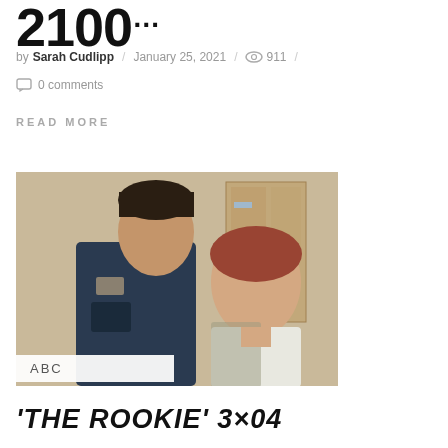2100
by Sarah Cudlipp / January 25, 2021 / 911 /
0 comments
READ MORE
[Figure (photo): A male police officer in uniform looking at an older woman with red hair in a beige room. ABC watermark/label at bottom left.]
ABC
'THE ROOKIE' 3×04